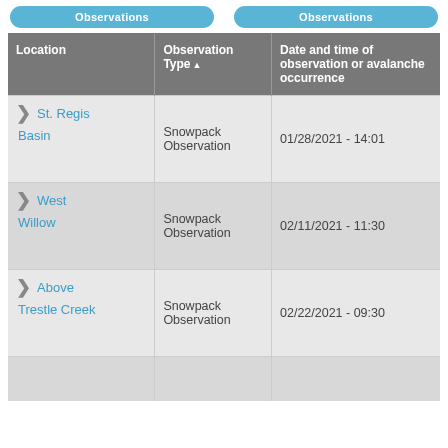Observations | Observations
| Location | Observation Type | Date and time of observation or avalanche occurrence |
| --- | --- | --- |
| St. Regis Basin | Snowpack Observation | 01/28/2021 - 14:01 |
| West Willow | Snowpack Observation | 02/11/2021 - 11:30 |
| Above Trestle Creek | Snowpack Observation | 02/22/2021 - 09:30 |
|  |  |  |